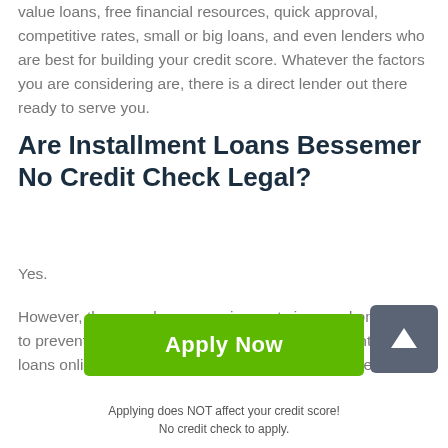value loans, free financial resources, quick approval, competitive rates, small or big loans, and even lenders who are best for building your credit score. Whatever the factors you are considering are, there is a direct lender out there ready to serve you.
Are Installment Loans Bessemer No Credit Check Legal?
Yes.
However, there are heavy requirements imposed on lenders to prevent predatory credit services. For Installment cash loans online in Bessemer, the state allows its residents a
[Figure (other): Scroll-to-top button with upward arrow icon, dark grey background]
[Figure (other): Green Apply Now button]
Applying does NOT affect your credit score!
No credit check to apply.